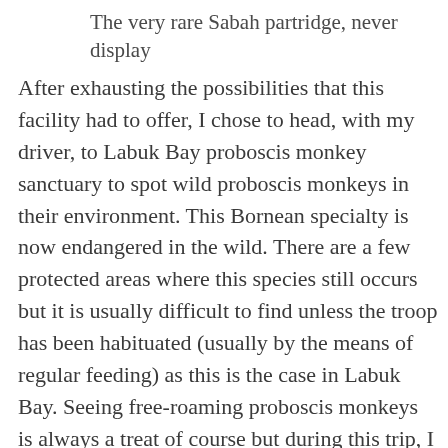The very rare Sabah partridge, never display
After exhausting the possibilities that this facility had to offer, I chose to head, with my driver, to Labuk Bay proboscis monkey sanctuary to spot wild proboscis monkeys in their environment. This Bornean specialty is now endangered in the wild. There are a few protected areas where this species still occurs but it is usually difficult to find unless the troop has been habituated (usually by the means of regular feeding) as this is the case in Labuk Bay. Seeing free-roaming proboscis monkeys is always a treat of course but during this trip, I was also blown away (in a very negative way) by the extent of deforestation, in